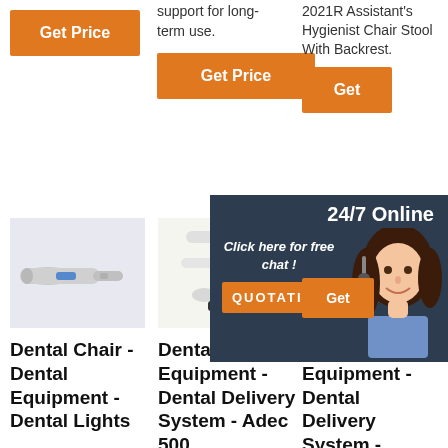support for long-term use.
2021R Assistant's Hygienist Chair Stool With Backrest.
[Figure (other): Orange Get Price button column 1]
[Figure (other): Orange Get Price button column 2]
[Figure (other): Partial orange Get Price button column 3]
[Figure (photo): Dental handpiece / angle attachment on light purple background]
[Figure (photo): Dental equipment - handpiece and accessories on white background]
[Figure (photo): Dental X-ray sensor with cable, small square sensor shown with R indicator]
[Figure (other): 24/7 Online chat widget with customer service agent photo, click here for free chat, QUOTATION button]
Dental Chair - Dental Equipment - Dental Lights
Dental Equipment - Dental Delivery System - Adec 500
Dental Equipment - Dental Delivery System - Adec 500